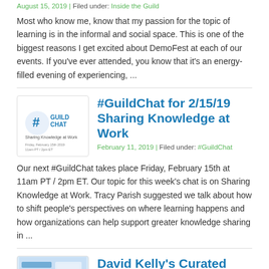August 15, 2019 | Filed under: Inside the Guild
Most who know me, know that my passion for the topic of learning is in the informal and social space. This is one of the biggest reasons I get excited about DemoFest at each of our events. If you've ever attended, you know that it's an energy-filled evening of experiencing, ...
[Figure (logo): GuildChat logo image with text: #GUILD CHAT, Sharing Knowledge at Work, Friday, February 15th 2019, 11am PT / 2pm ET]
#GuildChat for 2/15/19 Sharing Knowledge at Work
February 11, 2019 | Filed under: #GuildChat
Our next #GuildChat takes place Friday, February 15th at 11am PT / 2pm ET. Our topic for this week's chat is on Sharing Knowledge at Work. Tracy Parish suggested we talk about how to shift people's perspectives on where learning happens and how organizations can help support greater knowledge sharing in ...
[Figure (screenshot): Thumbnail image for David Kelly's Curated article]
David Kelly's Curated